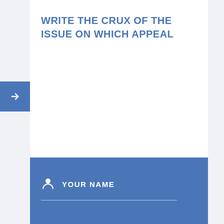WRITE THE CRUX OF THE ISSUE ON WHICH APPEAL
YOUR NAME